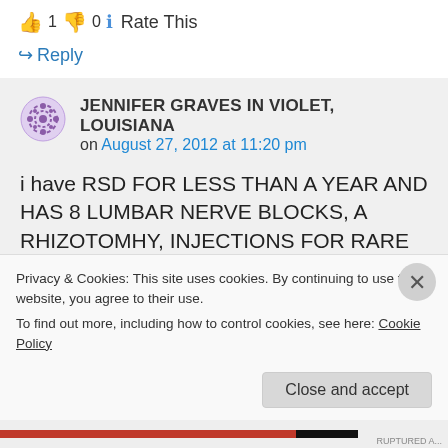👍 1 👎 0 ℹ Rate This
↪ Reply
JENNIFER GRAVES IN VIOLET, LOUISIANA on August 27, 2012 at 11:20 pm
i have RSD FOR LESS THAN A YEAR AND HAS 8 LUMBAR NERVE BLOCKS, A RHIZOTOMHY, INJECTIONS FOR RARE SNAIL CONE VENOM TO TRY TO EASE
Privacy & Cookies: This site uses cookies. By continuing to use this website, you agree to their use. To find out more, including how to control cookies, see here: Cookie Policy
Close and accept